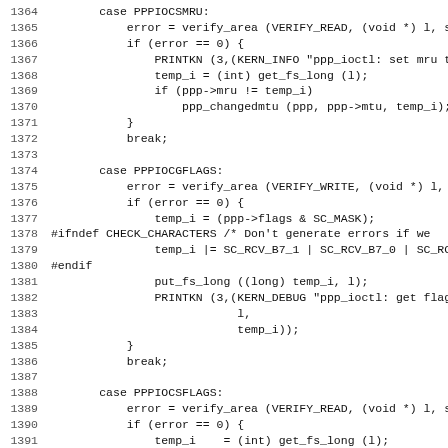[Figure (other): Source code listing in C (or similar), lines 1364-1395, showing PPP ioctl handling cases: PPPIOCSMRU, PPPIOCGFLAGS, PPPIOCSFLAGS with verify_area, error checks, get_fs_long, PRINTKN, ppp_changedmtu, put_fs_long calls.]